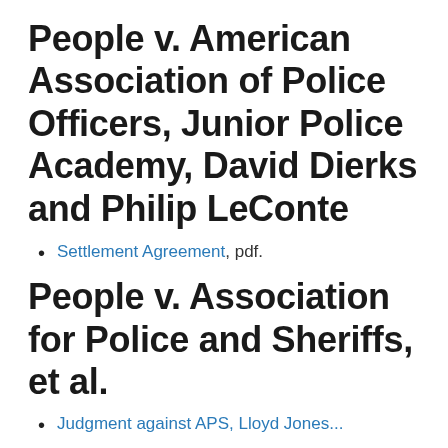People v. American Association of Police Officers, Junior Police Academy, David Dierks and Philip LeConte
Settlement Agreement, pdf.
People v. Association for Police and Sheriffs, et al.
Judgment against APS, Lloyd Jones...